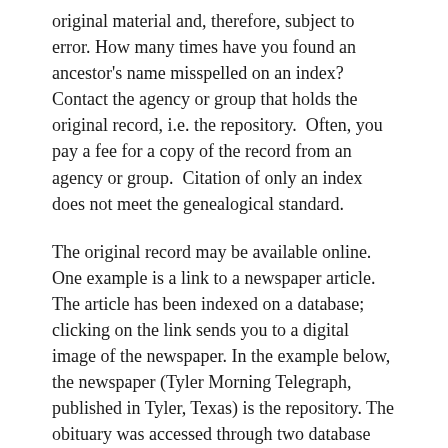original material and, therefore, subject to error. How many times have you found an ancestor's name misspelled on an index?  Contact the agency or group that holds the original record, i.e. the repository.  Often, you pay a fee for a copy of the record from an agency or group.  Citation of only an index does not meet the genealogical standard.
The original record may be available online. One example is a link to a newspaper article. The article has been indexed on a database; clicking on the link sends you to a digital image of the newspaper. In the example below, the newspaper (Tyler Morning Telegraph, published in Tyler, Texas) is the repository. The obituary was accessed through two database indexes-  Ancestry and Newspapers.com.  Citation of either index without actually finding the article is not enough.